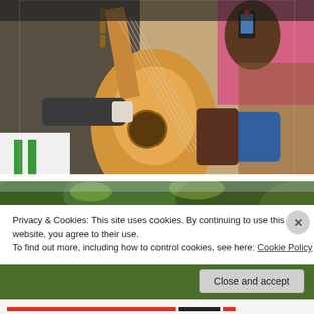[Figure (photo): Close-up photo of a person in a dark suit jacket playing an acoustic guitar, surrounded by a crowd of people including a woman in pink holding a phone, and others watching.]
[Figure (photo): Partial view of green trees/foliage, partially obscured by a cookie consent banner.]
Privacy & Cookies: This site uses cookies. By continuing to use this website, you agree to their use.
To find out more, including how to control cookies, see here: Cookie Policy
Close and accept